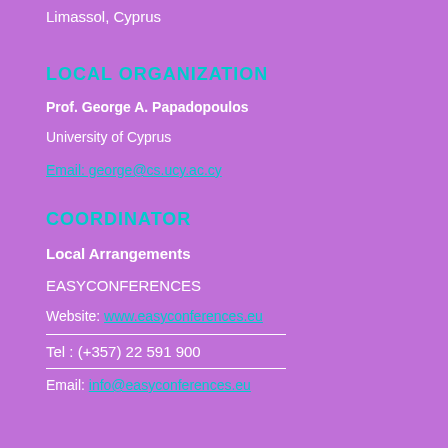Limassol, Cyprus
LOCAL ORGANIZATION
Prof. George A. Papadopoulos
University of Cyprus
Email: george@cs.ucy.ac.cy
COORDINATOR
Local Arrangements
EASYCONFERENCES
Website: www.easyconferences.eu
Tel : (+357) 22 591 900
Email: info@easyconferences.eu